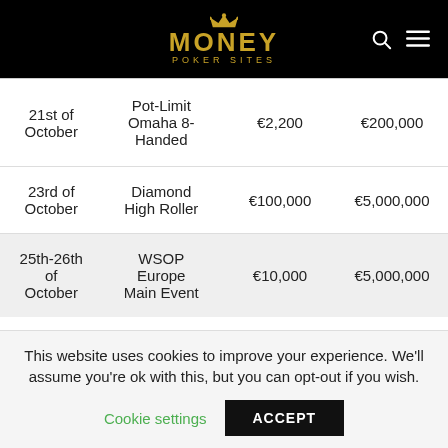MONEY POKER SITES
| Date | Event | Buy-in | Guarantee |
| --- | --- | --- | --- |
| 21st of October | Pot-Limit Omaha 8-Handed | €2,200 | €200,000 |
| 23rd of October | Diamond High Roller | €100,000 | €5,000,000 |
| 25th-26th of October | WSOP Europe Main Event | €10,000 | €5,000,000 |
This website uses cookies to improve your experience. We'll assume you're ok with this, but you can opt-out if you wish.
Cookie settings   ACCEPT